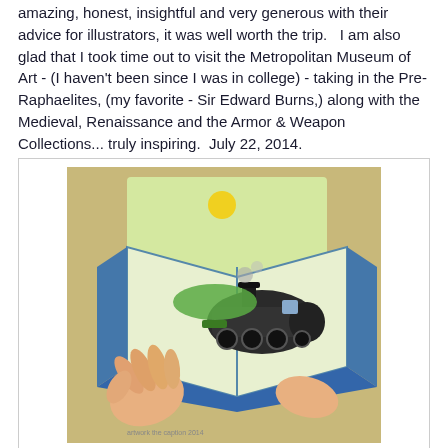amazing, honest, insightful and very generous with their advice for illustrators, it was well worth the trip.   I am also glad that I took time out to visit the Metropolitan Museum of Art - (I haven't been since I was in college) - taking in the Pre-Raphaelites, (my favorite - Sir Edward Burns,) along with the Medieval, Renaissance and the Armor & Weapon Collections... truly inspiring.  July 22, 2014.
[Figure (illustration): Illustration in progress showing two hands holding open a book, with a steam locomotive emerging from the pages against a warm yellow-green background with a small sun.]
June 22, 2014 - Here's a new illustration in progress that I worked on at the Vermont History Expo., Tunbridge, Vt. (above).
I'm really thankful for the invite and I had a great time presenting an Art Demonstration at the Vermont History Expo., Artists & Artisans, Vermont's Creative Heritage, in